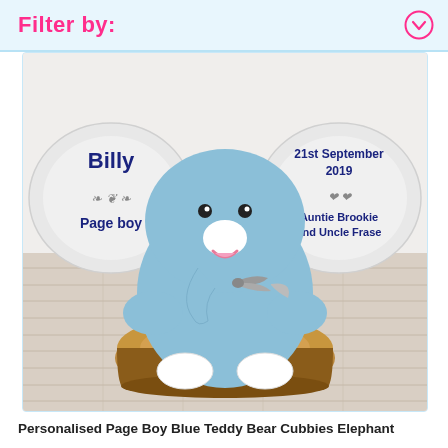Filter by:
[Figure (photo): A personalised blue plush elephant teddy bear (Cubbies brand) sitting on a wooden log slice. The elephant's large round ears have embroidered text: left ear reads 'Billy Page boy' with decorative scroll design, right ear reads '21st September 2019 Auntie Brookie and Uncle Frase' with decorative heart design. The elephant has white nose and feet, pink mouth, and a grey ribbon bow.]
Personalised Page Boy Blue Teddy Bear Cubbies Elephant